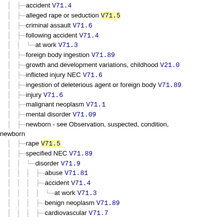accident V71.4
alleged rape or seduction V71.5
criminal assault V71.6
following accident V71.4
at work V71.3
foreign body ingestion V71.89
growth and development variations, childhood V21.0
inflicted injury NEC V71.6
ingestion of deleterious agent or foreign body V71.89
injury V71.6
malignant neoplasm V71.1
mental disorder V71.09
newborn - see Observation, suspected, condition, newborn
rape V71.5
specified NEC V71.89
disorder V71.9
abuse V71.81
accident V71.4
at work V71.3
benign neoplasm V71.89
cardiovascular V71.7